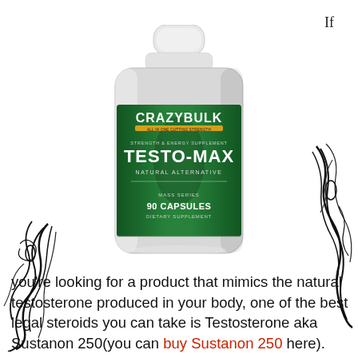If
[Figure (photo): CrazyBulk Testo-Max supplement bottle. Green label with white text reading CRAZYBULK, STRENGTH & ENERGY SUPPLEMENT, TESTO-MAX, NATURAL ALTERNATIVE, MASS SERIES, 90 CAPSULES, DIETARY SUPPLEMENT.]
you’re looking for a product that mimics the natural testosterone produced in your body, one of the best legal steroids you can take is Testosterone aka Sustanon 250(you can buy Sustanon 250 here). Usually, anabolic